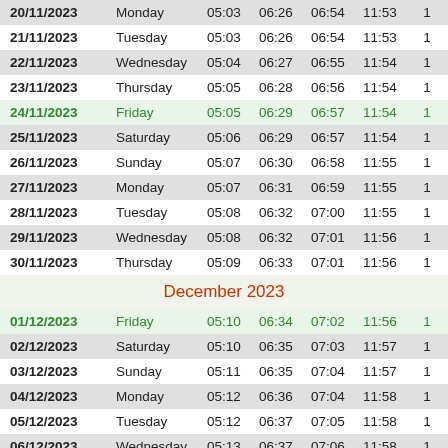| Date | Day | Col3 | Col4 | Col5 | Col6 | Col7 |
| --- | --- | --- | --- | --- | --- | --- |
| 20/11/2023 | Monday | 05:03 | 06:26 | 06:54 | 11:53 | 1 |
| 21/11/2023 | Tuesday | 05:03 | 06:26 | 06:54 | 11:53 | 1 |
| 22/11/2023 | Wednesday | 05:04 | 06:27 | 06:55 | 11:54 | 1 |
| 23/11/2023 | Thursday | 05:05 | 06:28 | 06:56 | 11:54 | 1 |
| 24/11/2023 | Friday | 05:05 | 06:29 | 06:57 | 11:54 | 1 |
| 25/11/2023 | Saturday | 05:06 | 06:29 | 06:57 | 11:54 | 1 |
| 26/11/2023 | Sunday | 05:07 | 06:30 | 06:58 | 11:55 | 1 |
| 27/11/2023 | Monday | 05:07 | 06:31 | 06:59 | 11:55 | 1 |
| 28/11/2023 | Tuesday | 05:08 | 06:32 | 07:00 | 11:55 | 1 |
| 29/11/2023 | Wednesday | 05:08 | 06:32 | 07:01 | 11:56 | 1 |
| 30/11/2023 | Thursday | 05:09 | 06:33 | 07:01 | 11:56 | 1 |
| December 2023 |
| 01/12/2023 | Friday | 05:10 | 06:34 | 07:02 | 11:56 | 1 |
| 02/12/2023 | Saturday | 05:10 | 06:35 | 07:03 | 11:57 | 1 |
| 03/12/2023 | Sunday | 05:11 | 06:35 | 07:04 | 11:57 | 1 |
| 04/12/2023 | Monday | 05:12 | 06:36 | 07:04 | 11:58 | 1 |
| 05/12/2023 | Tuesday | 05:12 | 06:37 | 07:05 | 11:58 | 1 |
| 06/12/2023 | Wednesday | 05:13 | 06:37 | 07:06 | 11:58 | 1 |